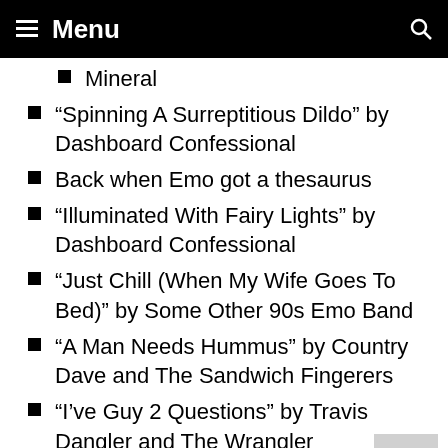Menu
Mineral
“Spinning A Surreptitious Dildo” by Dashboard Confessional
Back when Emo got a thesaurus
“Illuminated With Fairy Lights” by Dashboard Confessional
“Just Chill (When My Wife Goes To Bed)” by Some Other 90s Emo Band
“A Man Needs Hummus” by Country Dave and The Sandwich Fingerers
“I’ve Guy 2 Questions” by Travis Dangler and The Wrangler Strangers